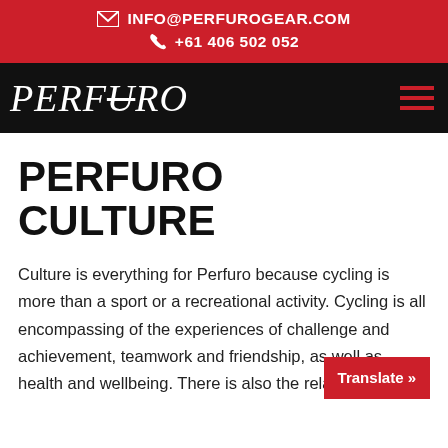INFO@PERFUROGEAR.COM
+61 406 502 052
[Figure (logo): Perfuro logo in white italic serif font on black background with hamburger menu icon in red on the right]
PERFURO CULTURE
Culture is everything for Perfuro because cycling is more than a sport or a recreational activity. Cycling is all encompassing of the experiences of challenge and achievement, teamwork and friendship, as well as health and wellbeing. There is also the relatio…